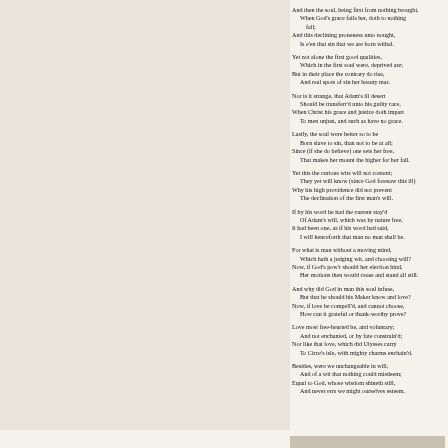And then the soul, being first from nothing brought,
  When God's grace fails her, doth to nothing
        fall;
And this declining proneness unto nought,
  Is e'en that sin that we are born withal.

Yet not alone the first good qualities,
  Which in the first soul were, deprived are;
But in their place the contrary do rise,
  And real spots of sin her beauty mar.

Nor is it strange, that Adam's ill desert
  Should be transferr'd unto his guilty race,
When Christ his grace and justice doth impart
  To men unjust, and such as have no grace.

Lastly, the soul were better so to be
  Born slave to sin, than not to be at all;
Since (if she do believe) one sets her free,
  That makes her mount the higher for her fall.

Yet this the curious wits will not content;
  They yet will know (since God foresaw this ill)
Why his high providence did not prevent
  The declination of the first man's will.

If by his word he had the current stay'd
  Of Adam's will, which was by nature free,
It had been one, as if his word had said,
  I will henceforth that man no man shall be.

For what is man without a moving mind,
  Which hath a judging wit, and choosing will?
Now, if God's pow'r should her election bind,
  Her motions then would cease and stand all still.

And why did God in man this soul infuse,
  But that he should his Maker know and love?
Now, if love be compell'd, and cannot choose,
  How can it grateful or thank-worthy prove?

Love most free-hearted be, and voluntary;
  And not enchanted, or by fate constrain'd;
Nor like that love, which did Ulysses carry
  To Circe's isle, with mighty charms enchain'd.

Besides, were we unchangeable in will,
  And of a wit that nothing could misdeem;
Equal to God, whose wisdom shineth still,
  And never errs we might ourselves esteem.